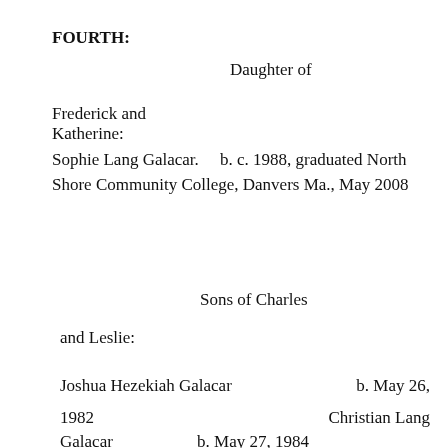FOURTH:
Daughter of
Frederick and
Katherine:
Sophie Lang Galacar.     b. c. 1988, graduated North Shore Community College, Danvers Ma., May 2008
Sons of Charles and Leslie:
Joshua Hezekiah Galacar     b. May 26, 1982     Christian Lang Galacar     b. May 27, 1984